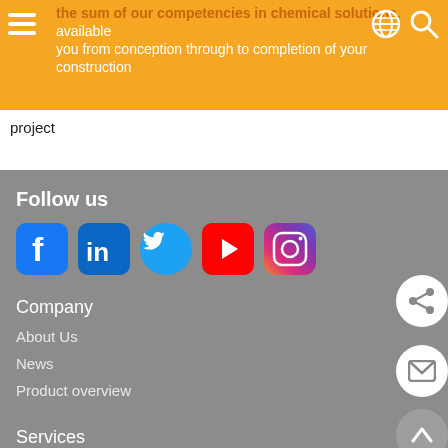the sum of our competencies in chemical solutions, available you from conception through to completion of your construction project
Follow us
[Figure (infographic): Social media icons: Facebook, LinkedIn, Twitter, YouTube, Instagram]
Company
About Us
News
Product overview
Services
Contact Us
Contact persons